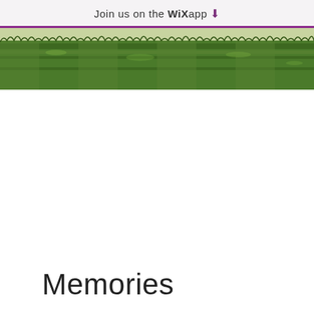Join us on the WiX app ⬇
[Figure (photo): A close-up photo of a green grass lawn or turf field, showing dense short grass texture across the full width of the banner.]
Memories